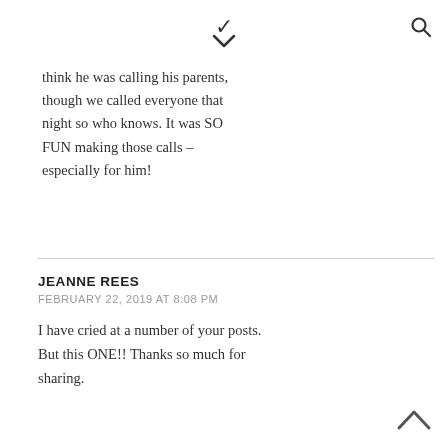▾  🔍
think he was calling his parents, though we called everyone that night so who knows. It was SO FUN making those calls – especially for him!
JEANNE REES
FEBRUARY 22, 2019 AT 8:08 PM
I have cried at a number of your posts. But this ONE!! Thanks so much for sharing.